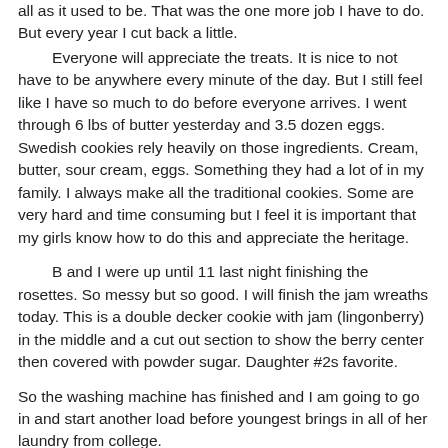all as it used to be.  That was the one more job I have to do.  But every year I cut back a little.

Everyone will appreciate the treats.  It is nice to not have to be anywhere every minute of the day.  But I still feel like I have so much to do before everyone arrives.  I went through 6 lbs of butter yesterday and 3.5 dozen eggs.  Swedish cookies rely heavily on those ingredients.  Cream, butter, sour cream, eggs.  Something they had a lot of in my family.  I always make all the traditional cookies.  Some are very hard and time consuming but I feel it is important that my girls know how to do this and appreciate the heritage.

B and I were up until 11 last night finishing the rosettes.  So messy but so good.  I will finish the jam wreaths today.  This is a double decker cookie with jam (lingonberry) in the middle and a cut out section to show the berry center then covered with powder sugar.  Daughter #2s favorite.

So the washing machine has finished and I am going to go in and start another load before youngest brings in all of her laundry from college.

Merry Christmas mom!